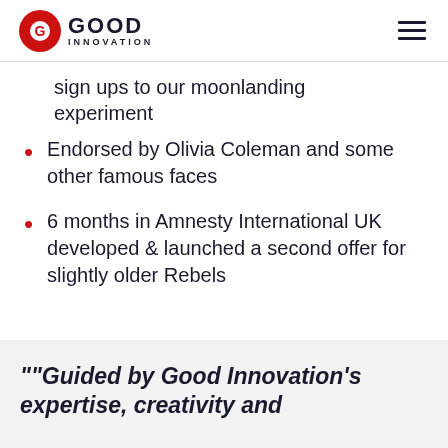Good Innovation
sign ups to our moonlanding experiment
Endorsed by Olivia Coleman and some other famous faces
6 months in Amnesty International UK developed & launched a second offer for slightly older Rebels
““Guided by Good Innovation’s expertise, creativity and